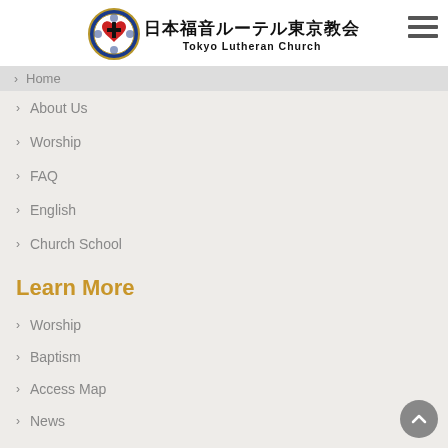[Figure (logo): Tokyo Lutheran Church circular logo with cross and heart, Lutheran rose design, blue border with gold ring]
日本福音ルーテル東京教会
Tokyo Lutheran Church
Home
About Us
Worship
FAQ
English
Church School
Learn More
Worship
Baptism
Access Map
News
partner